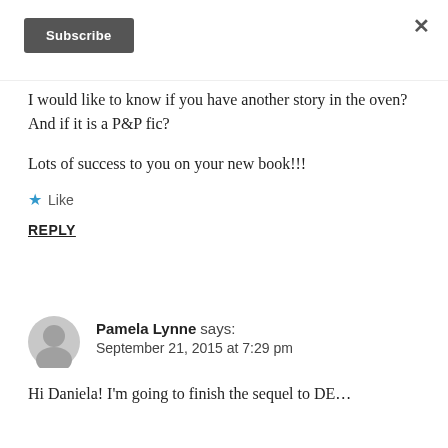[Figure (other): Subscribe button (dark grey rounded button with white text)]
I would like to know if you have another story in the oven? And if it is a P&P fic?
Lots of success to you on your new book!!!
★ Like
REPLY
[Figure (photo): Grey default user avatar silhouette]
Pamela Lynne says: September 21, 2015 at 7:29 pm
Hi Daniela! I'm going to finish the sequel to DE…